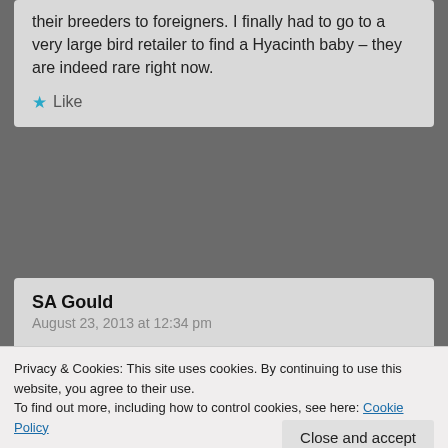their breeders to foreigners. I finally had to go to a very large bird retailer to find a Hyacinth baby – they are indeed rare right now.
Like
SA Gould
August 23, 2013 at 12:34 pm
This is not a problem just for parrot people. Pet shops specializing in exotic mammals and reptiles can import almost anything and sell almost anything, often without *any* waiting period to check if they have a disease. State laws vary widely.
Privacy & Cookies: This site uses cookies. By continuing to use this website, you agree to their use.
To find out more, including how to control cookies, see here: Cookie Policy
Close and accept
Like